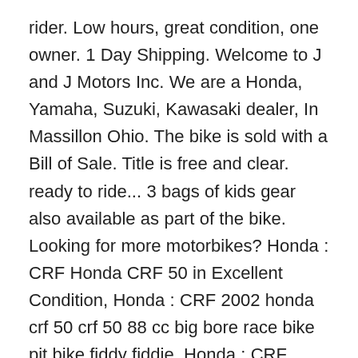rider. Low hours, great condition, one owner. 1 Day Shipping. Welcome to J and J Motors Inc. We are a Honda, Yamaha, Suzuki, Kawasaki dealer, In Massillon Ohio. The bike is sold with a Bill of Sale. Title is free and clear. ready to ride... 3 bags of kids gear also available as part of the bike. Looking for more motorbikes? Honda : CRF Honda CRF 50 in Excellent Condition, Honda : CRF 2002 honda crf 50 crf 50 88 cc big bore race bike pit bike fiddy fiddie, Honda : CRF 2007 honda crf 50 crf 50 excellent condition, Honda : CRF 2015 honda crf 50 r in red c s, Honda : CRF Honda crf 50 with extra plastics and more, Honda : CRF 2011 honda crf 50 f great condition, Honda : CRF 2004 crf honda 50 kids motorcycle very good condition. Off Road Motorcycles, 2013 Honda CRF 50, Very clean never on the ground garage kept factory tires also included. Page 51 hondas of the same type CRF 150R elite